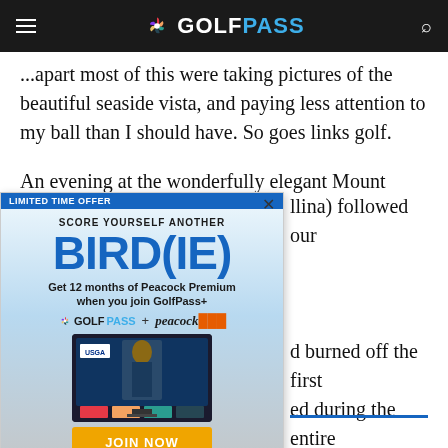GOLFPASS
...apart most of this were taking pictures of the beautiful seaside vista, and paying less attention to my ball than I should have. So goes links golf.
An evening at the wonderfully elegant Mount Falcon
[Figure (screenshot): GolfPass advertisement overlay: 'LIMITED TIME OFFER - SCORE YOURSELF ANOTHER BIRD(IE) - Get 12 months of Peacock Premium when you join GolfPass+ - GOLFPASS + peacock - JOIN NOW - $4.99/mo. vs us. Eligibility restrictions and terms apply.']
llina) followed our ... d burned off the first ... ed during the entire ... tes from our hotel ... al round of our trip.